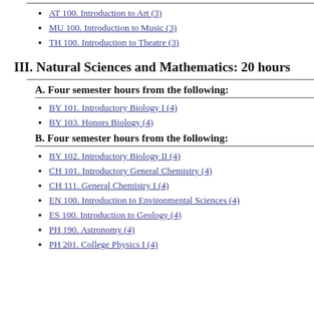AT 100. Introduction to Art (3)
MU 100. Introduction to Music (3)
TH 100. Introduction to Theatre (3)
III. Natural Sciences and Mathematics: 20 hours
A. Four semester hours from the following:
BY 101. Introductory Biology I (4)
BY 103. Honors Biology (4)
B. Four semester hours from the following:
BY 102. Introductory Biology II (4)
CH 101. Introductory General Chemistry (4)
CH 111. General Chemistry I (4)
EN 100. Introduction to Environmental Sciences (4)
ES 100. Introduction to Geology (4)
PH 190. Astronomy (4)
PH 201. College Physics I (4)